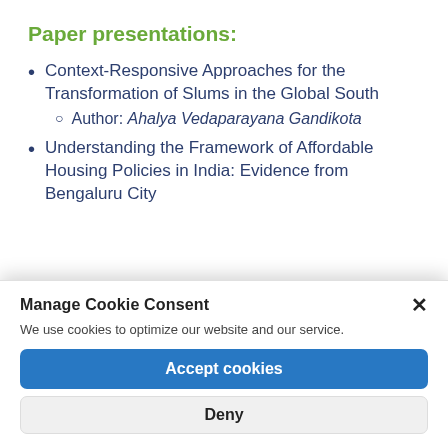Paper presentations:
Context-Responsive Approaches for the Transformation of Slums in the Global South
Author: Ahalya Vedaparayana Gandikota
Understanding the Framework of Affordable Housing Policies in India: Evidence from Bengaluru City
Manage Cookie Consent
We use cookies to optimize our website and our service.
Accept cookies
Deny